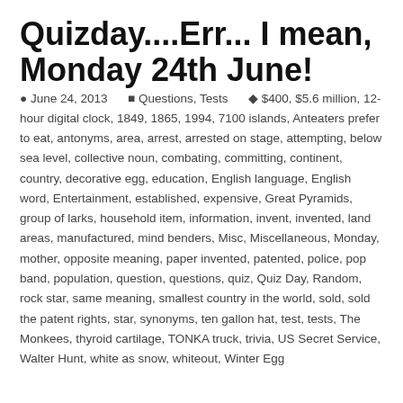Quizday....Err... I mean, Monday 24th June!
June 24, 2013   Questions, Tests   $400, $5.6 million, 12-hour digital clock, 1849, 1865, 1994, 7100 islands, Anteaters prefer to eat, antonyms, area, arrest, arrested on stage, attempting, below sea level, collective noun, combating, committing, continent, country, decorative egg, education, English language, English word, Entertainment, established, expensive, Great Pyramids, group of larks, household item, information, invent, invented, land areas, manufactured, mind benders, Misc, Miscellaneous, Monday, mother, opposite meaning, paper invented, patented, police, pop band, population, question, questions, quiz, Quiz Day, Random, rock star, same meaning, smallest country in the world, sold, sold the patent rights, star, synonyms, ten gallon hat, test, tests, The Monkees, thyroid cartilage, TONKA truck, trivia, US Secret Service, Walter Hunt, white as snow, whiteout, Winter Egg